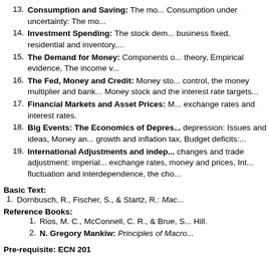13. Consumption and Saving: The mo... Consumption under uncertainty: The mo...
14. Investment Spending: The stock dem... business fixed, residential and inventory,...
15. The Demand for Money: Components o... theory, Empirical evidence, The income v...
16. The Fed, Money and Credit: Money sto... control, the money multiplier and bank... Money stock and the interest rate targets...
17. Financial Markets and Asset Prices: ... exchange rates and interest rates.
18. Big Events: The Economics of Depres... depression: Issues and ideas, Money an... growth and inflation tax, Budget deficits:...
19. International Adjustments and indep... changes and trade adjustment: imperial... exchange rates, money and prices, Int... fluctuation and interdependence, the cho...
Basic Text:
1. Dornbusch, R., Fischer, S., & Startz, R.: Mac...
Reference Books:
1. Rios, M. C., McConnell, C. R., & Brue, S... Hill.
2. N. Gregory Mankiw: Principles of Macro...
Pre-requisite: ECN 201